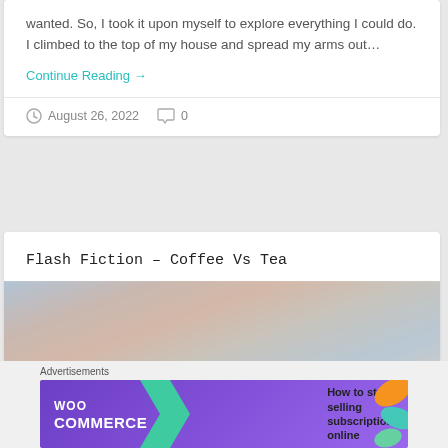wanted. So, I took it upon myself to explore everything I could do. I climbed to the top of my house and spread my arms out...
Continue Reading →
August 26, 2022   0
Flash Fiction – Coffee Vs Tea
[Figure (photo): Blurred outdoor sky/landscape photo with soft warm and cool tones, small figure silhouette visible in lower right area]
[Figure (other): WooCommerce advertisement banner: purple background with WooCommerce logo and green arrow, text 'How to start selling subscriptions online', orange and teal leaf decorations on right]
Advertisements